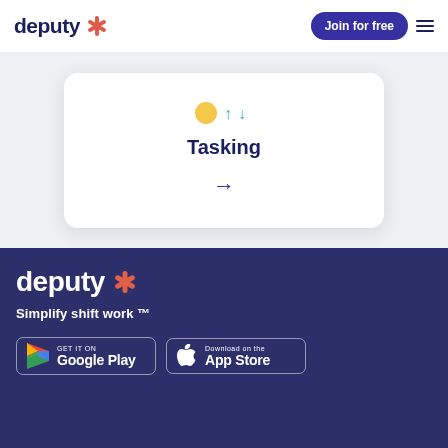deputy [logo] | Join for free | [menu]
[Figure (screenshot): A white card UI element showing 'Tasking' label with small icon indicators at the top and a right-arrow navigation button below, on a light gray background.]
[Figure (logo): Deputy logo in white on dark navy background with orange starburst icon, followed by tagline 'Simplify shift work ™']
Simplify shift work ™
[Figure (other): Google Play store badge]
[Figure (other): Apple App Store badge]